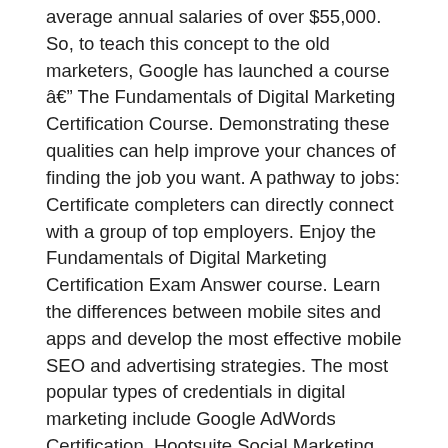average annual salaries of over $55,000. So, to teach this concept to the old marketers, Google has launched a course â The Fundamentals of Digital Marketing Certification Course. Demonstrating these qualities can help improve your chances of finding the job you want. A pathway to jobs: Certificate completers can directly connect with a group of top employers. Enjoy the Fundamentals of Digital Marketing Certification Exam Answer course. Learn the differences between mobile sites and apps and develop the most effective mobile SEO and advertising strategies. The most popular types of credentials in digital marketing include Google AdWords Certification, Hootsuite Social Marketing Certification â¦ Digital marketing is a growing industry, with new skills needed on a routine basis. Learn how to export and expand your business internationally. You'll earn an authentic Digital Marketing certification from Google, by completing all modules in The Google Digital Garage